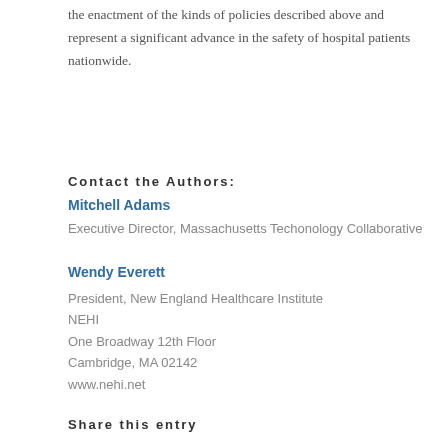the enactment of the kinds of policies described above and represent a significant advance in the safety of hospital patients nationwide.
Contact the Authors:
Mitchell Adams
Executive Director, Massachusetts Techonology Collaborative
Wendy Everett
President, New England Healthcare Institute
NEHI
One Broadway 12th Floor
Cambridge, MA 02142
www.nehi.net
Share this entry